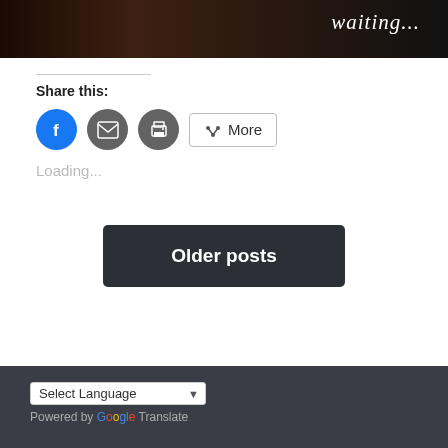[Figure (photo): Dark background image with italic text 'waiting...' in white serif font on the right side]
Share this:
[Figure (infographic): Share buttons: Facebook (blue circle), Email (grey circle), Print (grey circle), and a More button with share icon]
Loading...
Older posts
Select Language
Powered by Google Translate